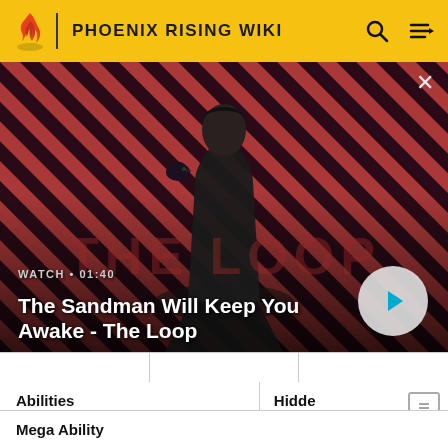PHOENIX RISING WIKI
[Figure (screenshot): Video thumbnail with diagonal red/dark stripes background, a person in dark clothing with a crow on their shoulder, with text overlay: WATCH • 01:40 / The Sandman Will Keep You Awake - The Loop, and a play button]
| Abilities | Hidden Ability |
| --- | --- |
| Competitive or Cute Charm |  |
| Mega Ability |
| --- |
|  |